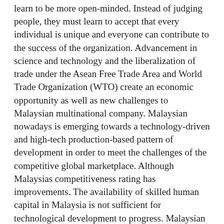learn to be more open-minded. Instead of judging people, they must learn to accept that every individual is unique and everyone can contribute to the success of the organization. Advancement in science and technology and the liberalization of trade under the Asean Free Trade Area and World Trade Organization (WTO) create an economic opportunity as well as new challenges to Malaysian multinational company. Malaysian nowadays is emerging towards a technology-driven and high-tech production-based pattern of development in order to meet the challenges of the competitive global marketplace. Although Malaysias competitiveness rating has improvements. The availability of skilled human capital in Malaysia is not sufficient for technological development to progress. Malaysian school and universities do not turn out to be problem solver and do not produce skilled, innovative graduates as technology companies demanded. Compare to China and India which produce tens of thousands of graduates per year, while Malaysias talent pool is tiny in comparison. Companies that do not keep up with